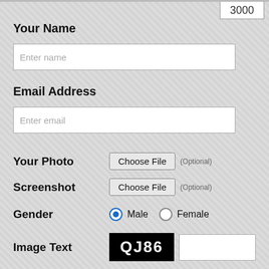3000
Your Name
Enter name
Email Address
Enter email
Your Photo   Choose File  (Optional)
Screenshot   Choose File  (Optional)
Gender   Male  Female
Image Text   QJ86
Post Your Complaint